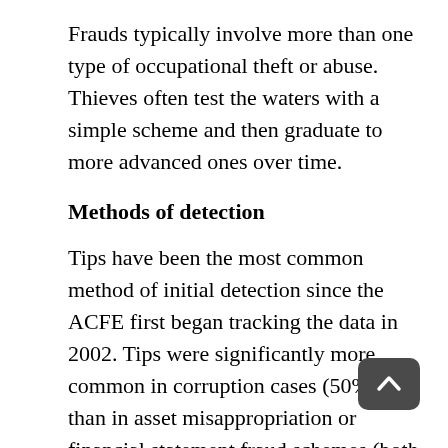Frauds typically involve more than one type of occupational theft or abuse. Thieves often test the waters with a simple scheme and then graduate to more advanced ones over time.
Methods of detection
Tips have been the most common method of initial detection since the ACFE first began tracking the data in 2002. Tips were significantly more common in corruption cases (50%) than in asset misappropriation or financial statement fraud schemes (both 38%).
Most tips (53%) came from employees. But 21% of the tips came from customers and 8% from vendors.